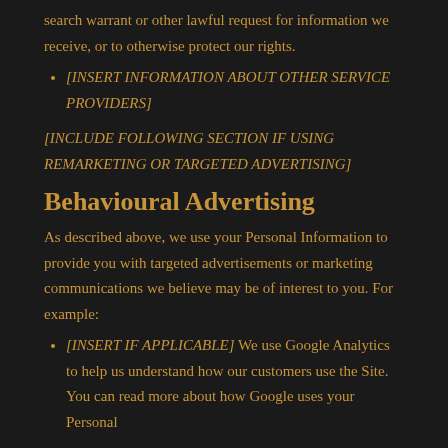search warrant or other lawful request for information we receive, or to otherwise protect our rights.
[INSERT INFORMATION ABOUT OTHER SERVICE PROVIDERS]
[INCLUDE FOLLOWING SECTION IF USING REMARKETING OR TARGETED ADVERTISING]
Behavioural Advertising
As described above, we use your Personal Information to provide you with targeted advertisements or marketing communications we believe may be of interest to you. For example:
[INSERT IF APPLICABLE] We use Google Analytics to help us understand how our customers use the Site. You can read more about how Google uses your Personal